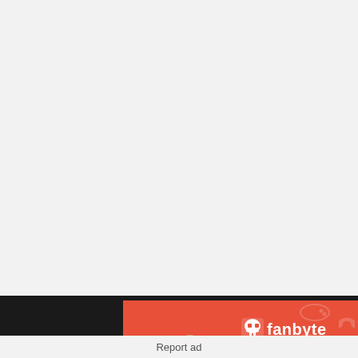[Figure (illustration): Advertisement banner for Fanbyte. Red background with group of people (fans) on the left side, Fanbyte logo (skull-like icon and wordmark) on the right, tagline 'Serving Fan-Fueled Entertainment for Everyone'. Set against a black bar background.]
Report ad